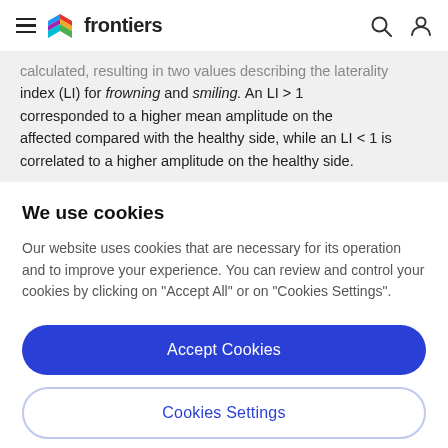frontiers
calculated, resulting in two values describing the laterality index (LI) for frowning and smiling. An LI > 1 corresponded to a higher mean amplitude on the affected compared with the healthy side, while an LI < 1 is correlated to a higher amplitude on the healthy side.
We use cookies
Our website uses cookies that are necessary for its operation and to improve your experience. You can review and control your cookies by clicking on "Accept All" or on "Cookies Settings".
Accept Cookies
Cookies Settings